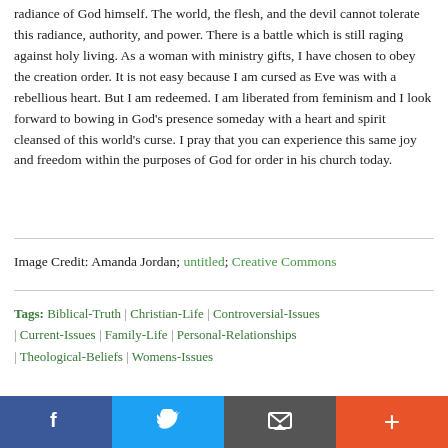radiance of God himself. The world, the flesh, and the devil cannot tolerate this radiance, authority, and power. There is a battle which is still raging against holy living. As a woman with ministry gifts, I have chosen to obey the creation order. It is not easy because I am cursed as Eve was with a rebellious heart. But I am redeemed. I am liberated from feminism and I look forward to bowing in God's presence someday with a heart and spirit cleansed of this world's curse. I pray that you can experience this same joy and freedom within the purposes of God for order in his church today.
Image Credit: Amanda Jordan; untitled; Creative Commons
Tags: Biblical-Truth | Christian-Life | Controversial-Issues | Current-Issues | Family-Life | Personal-Relationships | Theological-Beliefs | Womens-Issues
[Figure (other): Social share bar with Facebook, Twitter, email, and plus buttons]